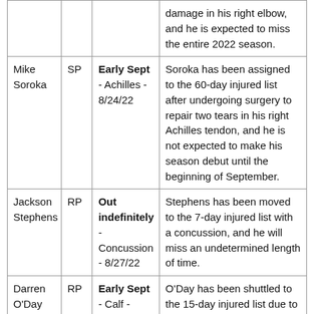| Player | Pos | Status | Notes |
| --- | --- | --- | --- |
|  |  |  | damage in his right elbow, and he is expected to miss the entire 2022 season. |
| Mike Soroka | SP | Early Sept - Achilles - 8/24/22 | Soroka has been assigned to the 60-day injured list after undergoing surgery to repair two tears in his right Achilles tendon, and he is not expected to make his season debut until the beginning of September. |
| Jackson Stephens | RP | Out indefinitely - Concussion - 8/27/22 | Stephens has been moved to the 7-day injured list with a concussion, and he will miss an undetermined length of time. |
| Darren O'Day | RP | Early Sept - Calf - 8/21/22 | O'Day has been shuttled to the 15-day injured list due to a left calf strain, and it is anticipated that he will not suit up until the early part of September. |